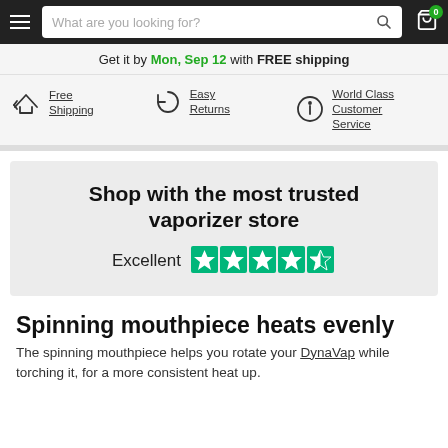What are you looking for? [search bar] [cart: 0]
Get it by Mon, Sep 12 with FREE shipping
Free Shipping
Easy Returns
World Class Customer Service
Shop with the most trusted vaporizer store
Excellent [4.5 stars Trustpilot]
Spinning mouthpiece heats evenly
The spinning mouthpiece helps you rotate your DynaVap while torching it, for a more consistent heat up.